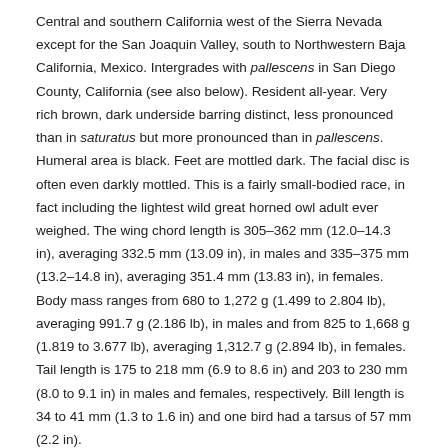Central and southern California west of the Sierra Nevada except for the San Joaquin Valley, south to Northwestern Baja California, Mexico. Intergrades with pallescens in San Diego County, California (see also below). Resident all-year. Very rich brown, dark underside barring distinct, less pronounced than in saturatus but more pronounced than in pallescens. Humeral area is black. Feet are mottled dark. The facial disc is often even darkly mottled. This is a fairly small-bodied race, in fact including the lightest wild great horned owl adult ever weighed. The wing chord length is 305–362 mm (12.0–14.3 in), averaging 332.5 mm (13.09 in), in males and 335–375 mm (13.2–14.8 in), averaging 351.4 mm (13.83 in), in females. Body mass ranges from 680 to 1,272 g (1.499 to 2.804 lb), averaging 991.7 g (2.186 lb), in males and from 825 to 1,668 g (1.819 to 3.677 lb), averaging 1,312.7 g (2.894 lb), in females. Tail length is 175 to 218 mm (6.9 to 8.6 in) and 203 to 230 mm (8.0 to 9.1 in) in males and females, respectively. Bill length is 34 to 41 mm (1.3 to 1.6 in) and one bird had a tarsus of 57 mm (2.2 in).
Coastal great horned owl, Bubo virginianus saturatus (Ridgway, 1877)
Pacific coast from southeastern Alaska to northern California. Includes the previously described form of B. v. leucomelas. The often-recognized race B. v. lagophonus is often now considered a mere clinal variation of the same race from